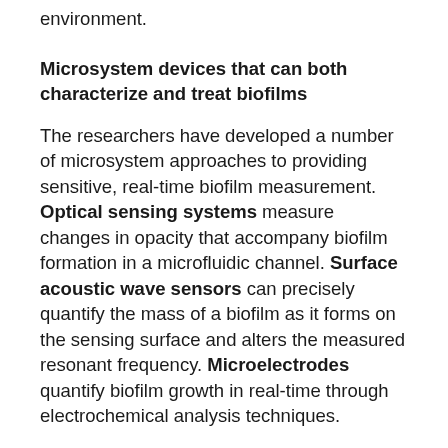environment.
Microsystem devices that can both characterize and treat biofilms
The researchers have developed a number of microsystem approaches to providing sensitive, real-time biofilm measurement. Optical sensing systems measure changes in opacity that accompany biofilm formation in a microfluidic channel. Surface acoustic wave sensors can precisely quantify the mass of a biofilm as it forms on the sensing surface and alters the measured resonant frequency. Microelectrodes quantify biofilm growth in real-time through electrochemical analysis techniques.
Early prototypes of these systems were rigid